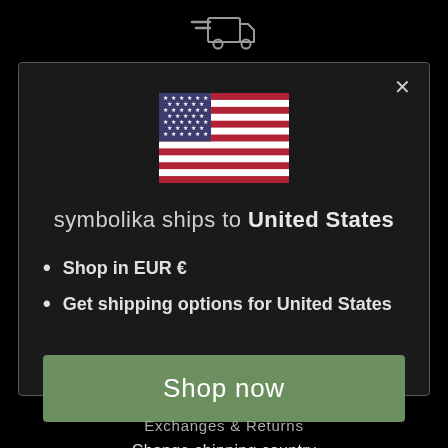[Figure (illustration): Fast delivery truck icon outline in light gray, shown above the modal dialog]
symbolika ships to United States
Shop in EUR €
Get shipping options for United States
Shop now
Change shipping country
Exchanges & Returns